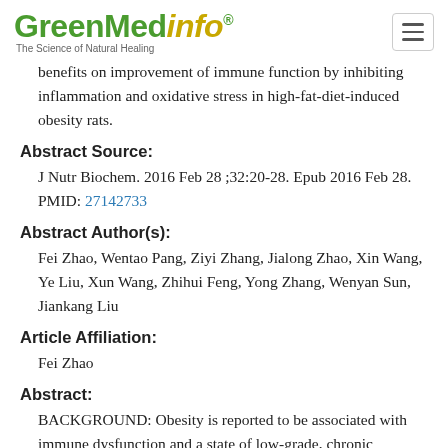GreenMedinfo - The Science of Natural Healing
benefits on improvement of immune function by inhibiting inflammation and oxidative stress in high-fat-diet-induced obesity rats.
Abstract Source:
J Nutr Biochem. 2016 Feb 28 ;32:20-28. Epub 2016 Feb 28. PMID: 27142733
Abstract Author(s):
Fei Zhao, Wentao Pang, Ziyi Zhang, Jialong Zhao, Xin Wang, Ye Liu, Xun Wang, Zhihui Feng, Yong Zhang, Wenyan Sun, Jiankang Liu
Article Affiliation:
Fei Zhao
Abstract:
BACKGROUND: Obesity is reported to be associated with immune dysfunction and a state of low-grade, chronic inflammation. Either pomegranate extract (PomE) or exercise (Ex) has been shown to have